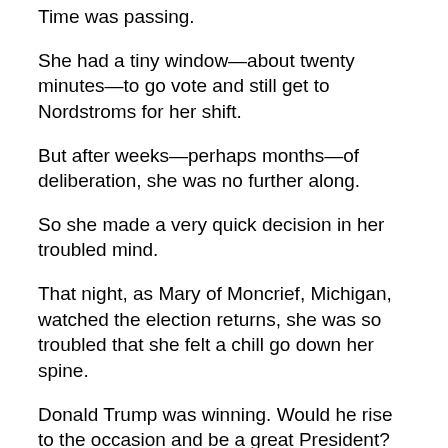Time was passing.
She had a tiny window—about twenty minutes—to go vote and still get to Nordstroms for her shift.
But after weeks—perhaps months—of deliberation, she was no further along.
So she made a very quick decision in her troubled mind.
That night, as Mary of Moncrief, Michigan, watched the election returns, she was so troubled that she felt a chill go down her spine.
Donald Trump was winning. Would he rise to the occasion and be a great President?
Should Hillary have been the one?
Even though the campaign had drug on for more than a